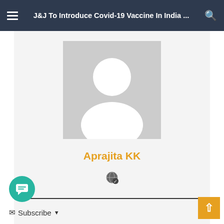J&J To Introduce Covid-19 Vaccine In India ...
[Figure (photo): Default user avatar placeholder — grey background with white silhouette of a person (head and shoulders)]
Aprajita KK
[Figure (illustration): Small globe/website icon]
Subscribe